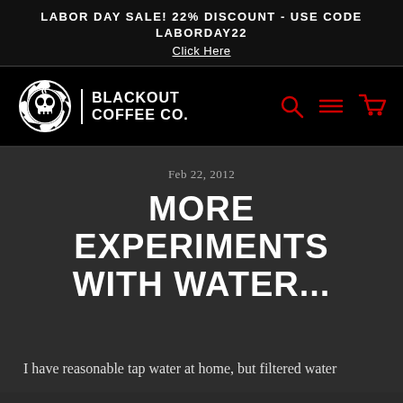LABOR DAY SALE! 22% DISCOUNT - USE CODE LABORDAY22
Click Here
[Figure (logo): Blackout Coffee Co. logo with gear and skull icon on black navigation bar, with red search, menu, and cart icons on right]
Feb 22, 2012
MORE EXPERIMENTS WITH WATER...
I have reasonable tap water at home, but filtered water